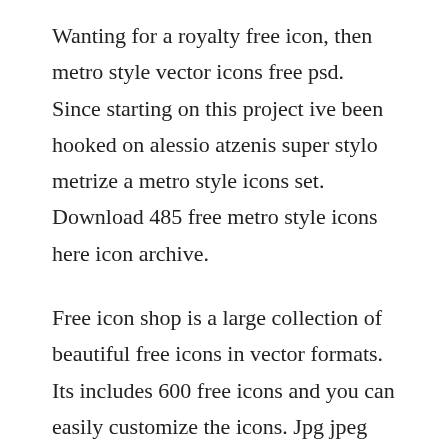Wanting for a royalty free icon, then metro style vector icons free psd. Since starting on this project ive been hooked on alessio atzenis super stylo metrize a metro style icons set. Download 485 free metro style icons here icon archive.
Free icon shop is a large collection of beautiful free icons in vector formats. Its includes 600 free icons and you can easily customize the icons. Jpg jpeg image pdf portable document format gif graphics interchange format tiff tagged image file